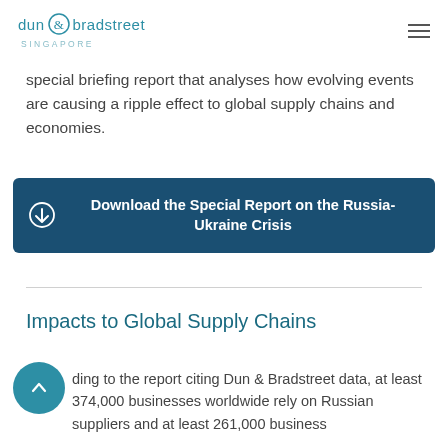dun & bradstreet SINGAPORE
special briefing report that analyses how evolving events are causing a ripple effect to global supply chains and economies.
Download the Special Report on the Russia-Ukraine Crisis
Impacts to Global Supply Chains
ding to the report citing Dun & Bradstreet data, at least 374,000 businesses worldwide rely on Russian suppliers and at least 261,000 businesses